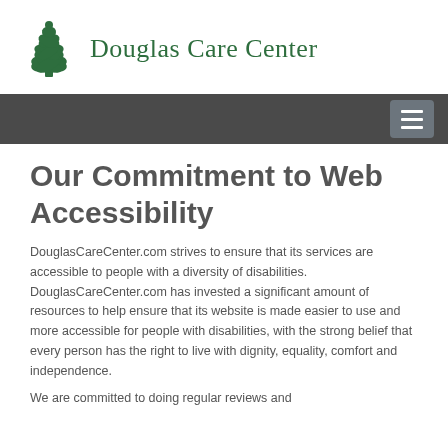[Figure (logo): Douglas Care Center logo with green pine tree icon and text 'Douglas Care Center' in dark green serif font]
[Figure (other): Dark gray navigation bar with hamburger menu button on the right]
Our Commitment to Web Accessibility
DouglasCareCenter.com strives to ensure that its services are accessible to people with a diversity of disabilities. DouglasCareCenter.com has invested a significant amount of resources to help ensure that its website is made easier to use and more accessible for people with disabilities, with the strong belief that every person has the right to live with dignity, equality, comfort and independence.
We are committed to doing regular reviews and